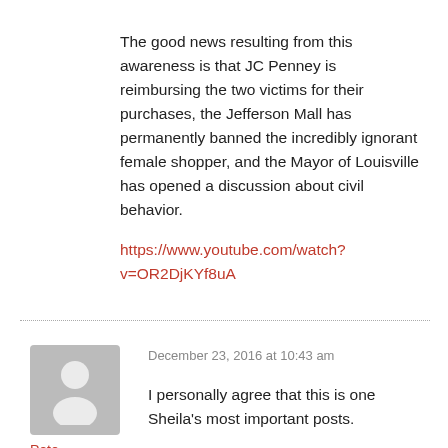The good news resulting from this awareness is that JC Penney is reimbursing the two victims for their purchases, the Jefferson Mall has permanently banned the incredibly ignorant female shopper, and the Mayor of Louisville has opened a discussion about civil behavior.
https://www.youtube.com/watch?v=OR2DjKYf8uA
December 23, 2016 at 10:43 am
I personally agree that this is one Sheila's most important posts.
Pete